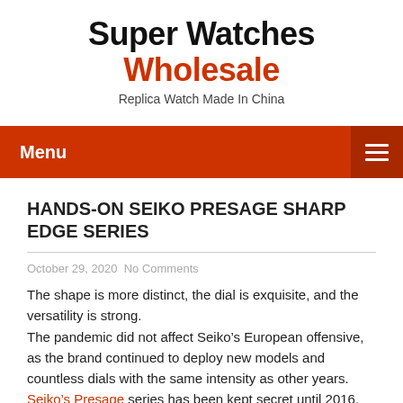Super Watches Wholesale
Replica Watch Made In China
Menu
HANDS-ON SEIKO PRESAGE SHARP EDGE SERIES
October 29, 2020 No Comments
The shape is more distinct, the dial is exquisite, and the versatility is strong.
The pandemic did not affect Seiko’s European offensive, as the brand continued to deploy new models and countless dials with the same intensity as other years. Seiko’s Presage series has been kept secret until 2016. Its exquisite sports